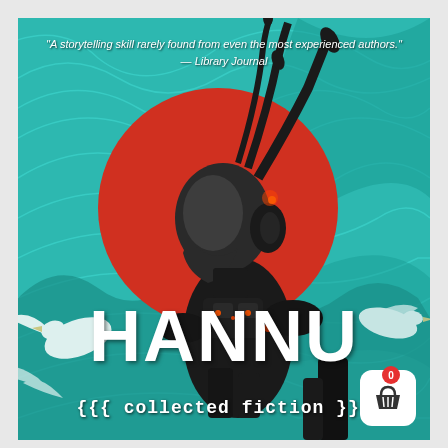[Figure (illustration): Book cover for 'Hannu {{{ collected fiction }}}'. Features a cyberpunk/sci-fi illustration of a humanoid figure with mechanical/robotic armor and head extensions, shown in profile against a large red circle (sun-like), set on a teal/turquoise swirling background. White birds (doves/seagulls) flank the figure. The large white bold title 'HANNU' appears at the bottom, with '{{{ collected fiction }}}' in monospace white text below.]
"A storytelling skill rarely found from even the most experienced authors." — Library Journal
HANNU
{{{ collected fiction }}}